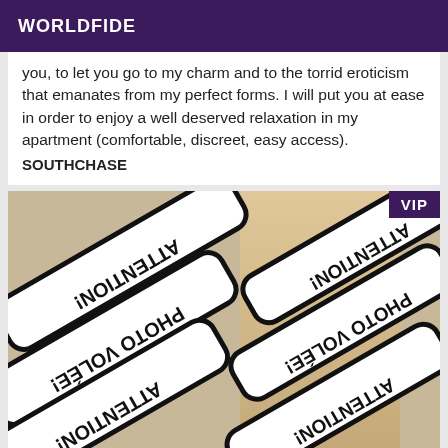WORLDFIDE
you, to let you go to my charm and to the torrid eroticism that emanates from my perfect forms. I will put you at ease in order to enjoy a well deserved relaxation in my apartment (comfortable, discreet, easy access). SOUTHCHASE
[Figure (photo): Photo of a blonde woman partially obscured by large black-and-white watermark banners reading 'ATTENTION PHOTO' in mirrored/rotated text, with a VIP badge in the top right corner.]